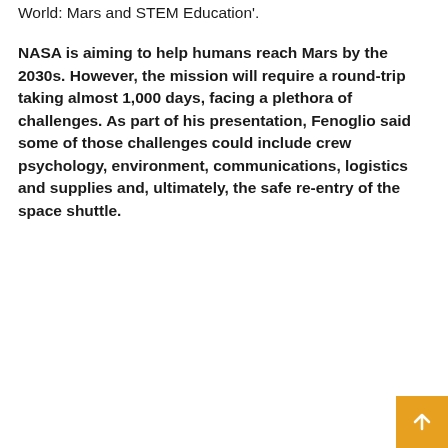World: Mars and STEM Education'.
NASA is aiming to help humans reach Mars by the 2030s. However, the mission will require a round-trip taking almost 1,000 days, facing a plethora of challenges. As part of his presentation, Fenoglio said some of those challenges could include crew psychology, environment, communications, logistics and supplies and, ultimately, the safe re-entry of the space shuttle.